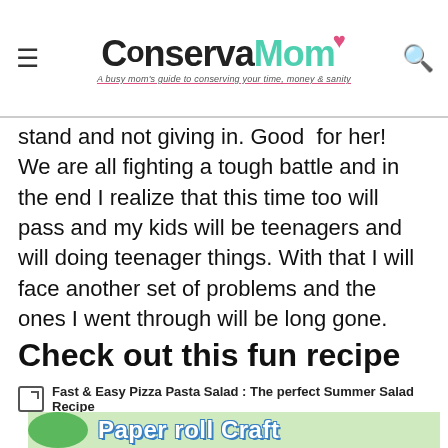ConservaMom — A busy mom's guide to conserving your time, money & sanity
stand and not giving in. Good for her! We are all fighting a tough battle and in the end I realize that this time too will pass and my kids will be teenagers and will doing teenager things. With that I will face another set of problems and the ones I went through will be long gone.
Check out this fun recipe
Fast & Easy Pizza Pasta Salad : The perfect Summer Salad Recipe
[Figure (illustration): Paper roll Craft — image showing a green paper roll craft with bold blue-outlined white text saying 'Paper roll Craft']